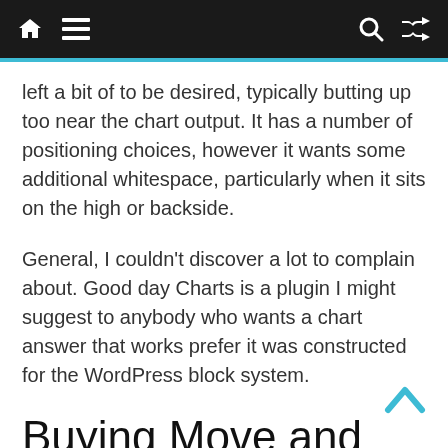Navigation bar with home, menu, search, and shuffle icons
left a bit of to be desired, typically butting up too near the chart output. It has a number of positioning choices, however it wants some additional whitespace, particularly when it sits on the high or backside.
General, I couldn't discover a lot to complain about. Good day Charts is a plugin I might suggest to anybody who wants a chart answer that works prefer it was constructed for the WordPress block system.
Buying Move and Setting Up